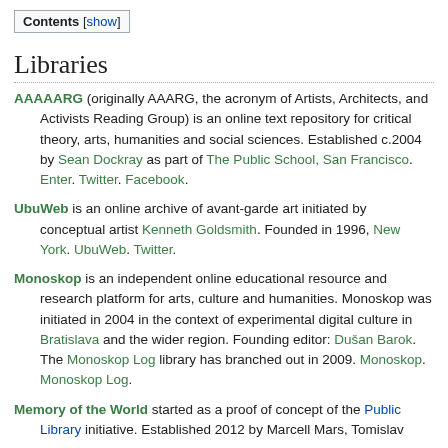| Contents |
| --- |
| [show] |
Libraries
AAAAARG (originally AAARG, the acronym of Artists, Architects, and Activists Reading Group) is an online text repository for critical theory, arts, humanities and social sciences. Established c.2004 by Sean Dockray as part of The Public School, San Francisco. Enter. Twitter. Facebook.
UbuWeb is an online archive of avant-garde art initiated by conceptual artist Kenneth Goldsmith. Founded in 1996, New York. UbuWeb. Twitter.
Monoskop is an independent online educational resource and research platform for arts, culture and humanities. Monoskop was initiated in 2004 in the context of experimental digital culture in Bratislava and the wider region. Founding editor: Dušan Barok. The Monoskop Log library has branched out in 2009. Monoskop. Monoskop Log.
Memory of the World started as a proof of concept of the Public Library initiative. Established 2012 by Marcell Mars, Tomislav...